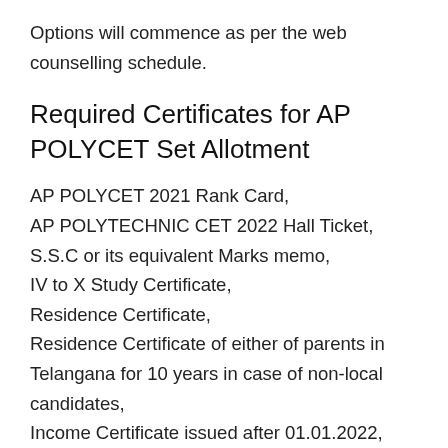Options will commence as per the web counselling schedule.
Required Certificates for AP POLYCET Set Allotment
AP POLYCET 2021 Rank Card,
AP POLYTECHNIC CET 2022 Hall Ticket,
S.S.C or its equivalent Marks memo,
IV to X Study Certificate,
Residence Certificate,
Residence Certificate of either of parents in Telangana for 10 years in case of non-local candidates,
Income Certificate issued after 01.01.2022,
Aadhar Card,